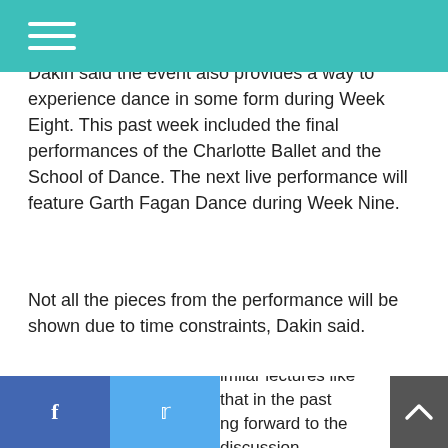[Navigation header bar with hamburger menu]
Dakin said the event also provides a way to experience dance in some form during Week Eight. This past week included the final performances of the Charlotte Ballet and the School of Dance. The next live performance will feature Garth Fagan Dance during Week Nine.
Not all the pieces from the performance will be shown due to time constraints, Dakin said.
“We will have a variety of different contrasting music, contrasting dancing styles, different choreographers and so forth, so it's going to be quite an interesting variety of pieces that we can present this way,” Dakin said.
imilar lectures like that in the past
ng forward to the discussion